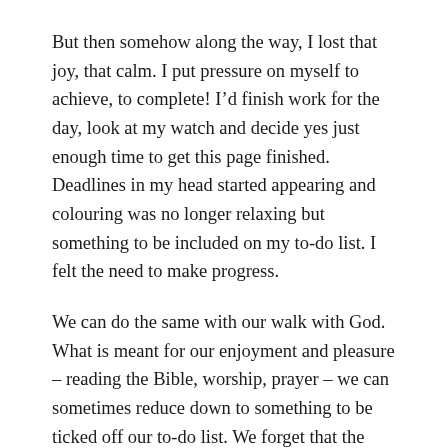But then somehow along the way, I lost that joy, that calm. I put pressure on myself to achieve, to complete! I'd finish work for the day, look at my watch and decide yes just enough time to get this page finished. Deadlines in my head started appearing and colouring was no longer relaxing but something to be included on my to-do list. I felt the need to make progress.
We can do the same with our walk with God. What is meant for our enjoyment and pleasure – reading the Bible, worship, prayer – we can sometimes reduce down to something to be ticked off our to-do list. We forget that the purpose, the intent of it in the first place is for relationship with God, something that we can enjoy. Spending time with someone who loves us. Instead we can find ourselves frustrated or demotivated when we get behind on our reading plans. It's not about perfection or achievement in reading plans